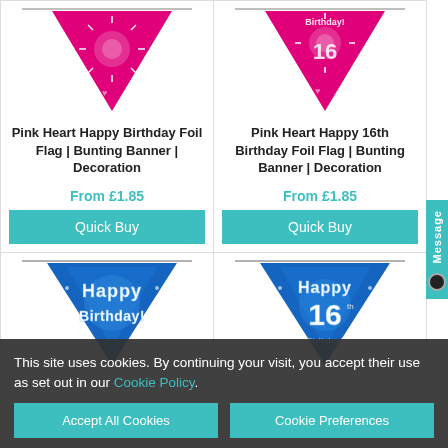[Figure (illustration): Pink triangular foil flag bunting with sparkle design and hearts - Happy Birthday]
Pink Heart Happy Birthday Foil Flag | Bunting Banner | Decoration
From £1.85
Quick Buy
[Figure (illustration): Pink triangular foil flag bunting with sparkle design - Happy 16th Birthday]
Pink Heart Happy 16th Birthday Foil Flag | Bunting Banner | Decoration
From £1.85
Quick Buy
[Figure (illustration): Blue holographic glitter triangular bunting flag - Happy Birthday!]
[Figure (illustration): Blue holographic glitter triangular bunting flag - Happy 16th Birthday]
This site uses cookies. By continuing your visit, you accept their use as set out in our Cookie Policy.
Accept All Cookies
Cookie Preferences